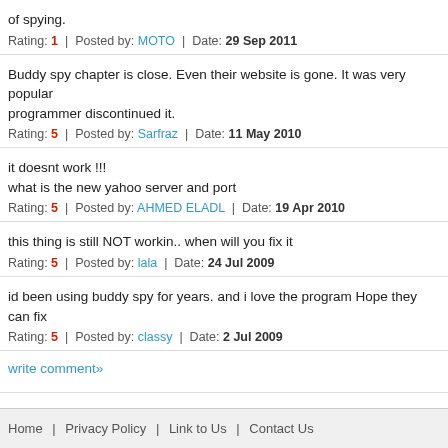of spying.
Rating: 1 | Posted by: MOTO | Date: 29 Sep 2011
Buddy spy chapter is close. Even their website is gone. It was very popular programmer discontinued it.
Rating: 5 | Posted by: Sarfraz | Date: 11 May 2010
it doesnt work !!!
what is the new yahoo server and port
Rating: 5 | Posted by: AHMED ELADL | Date: 19 Apr 2010
this thing is still NOT workin.. when will you fix it
Rating: 5 | Posted by: lala | Date: 24 Jul 2009
id been using buddy spy for years. and i love the program Hope they can fix
Rating: 5 | Posted by: classy | Date: 2 Jul 2009
write comment»
Home | Privacy Policy | Link to Us | Contact Us